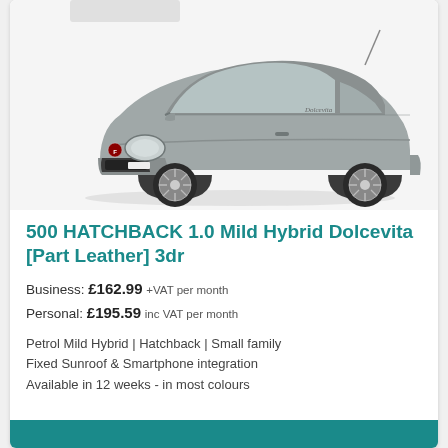[Figure (photo): Silver/grey Fiat 500 hatchback (mild hybrid) shown in three-quarter front view on white background]
500 HATCHBACK 1.0 Mild Hybrid Dolcevita [Part Leather] 3dr
Business: £162.99 +VAT per month
Personal: £195.59 inc VAT per month
Petrol Mild Hybrid | Hatchback | Small family
Fixed Sunroof & Smartphone integration
Available in 12 weeks - in most colours